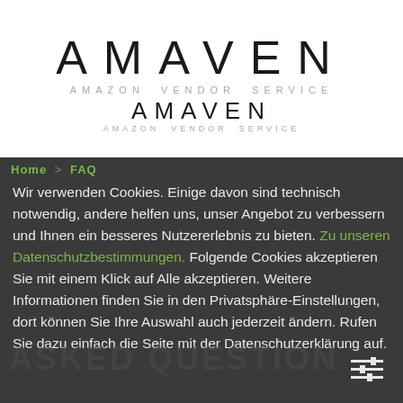[Figure (logo): AMAVEN Amazon Vendor Service logo — large AMAVEN text with 'AMAZON VENDOR SERVICE' subtitle, followed by smaller AMAVEN text with 'AMAZON VENDOR SERVICE' subtitle]
Home > FAQ
Wir verwenden Cookies. Einige davon sind technisch notwendig, andere helfen uns, unser Angebot zu verbessern und Ihnen ein besseres Nutzererlebnis zu bieten. Zu unseren Datenschutzbestimmungen. Folgende Cookies akzeptieren Sie mit einem Klick auf Alle akzeptieren. Weitere Informationen finden Sie in den Privatsphäre-Einstellungen, dort können Sie Ihre Auswahl auch jederzeit ändern. Rufen Sie dazu einfach die Seite mit der Datenschutzerklärung auf.